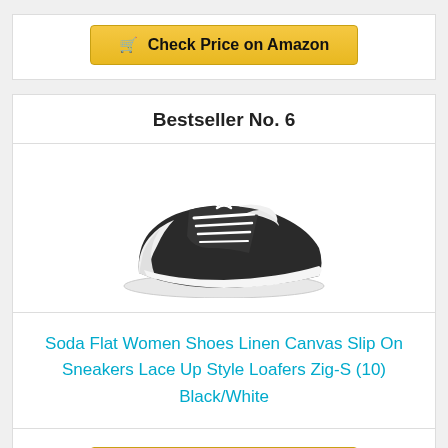[Figure (other): Check Price on Amazon button (top partial card)]
Bestseller No. 6
[Figure (photo): Black and white canvas sneaker shoe product photo - Soda Flat Women Shoes]
Soda Flat Women Shoes Linen Canvas Slip On Sneakers Lace Up Style Loafers Zig-S (10) Black/White
[Figure (other): Check Price on Amazon button]
Bestseller No. 7